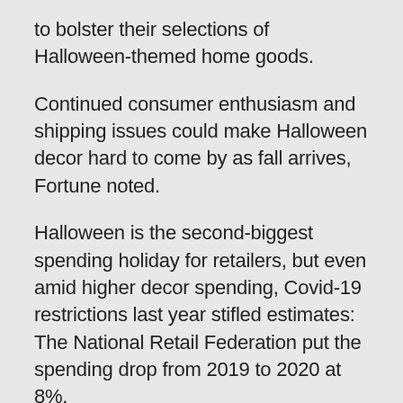to bolster their selections of Halloween-themed home goods.
Continued consumer enthusiasm and shipping issues could make Halloween decor hard to come by as fall arrives, Fortune noted.
Halloween is the second-biggest spending holiday for retailers, but even amid higher decor spending, Covid-19 restrictions last year stifled estimates: The National Retail Federation put the spending drop from 2019 to 2020 at 8%.